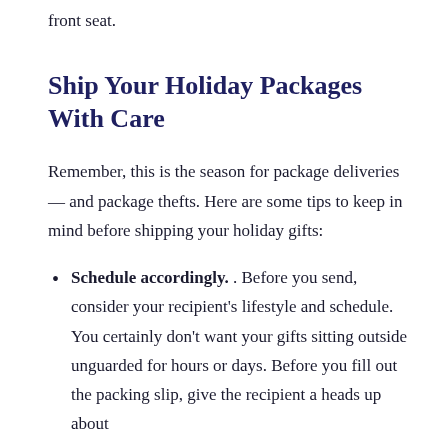front seat.
Ship Your Holiday Packages With Care
Remember, this is the season for package deliveries — and package thefts. Here are some tips to keep in mind before shipping your holiday gifts:
Schedule accordingly. . Before you send, consider your recipient's lifestyle and schedule. You certainly don't want your gifts sitting outside unguarded for hours or days. Before you fill out the packing slip, give the recipient a heads up about